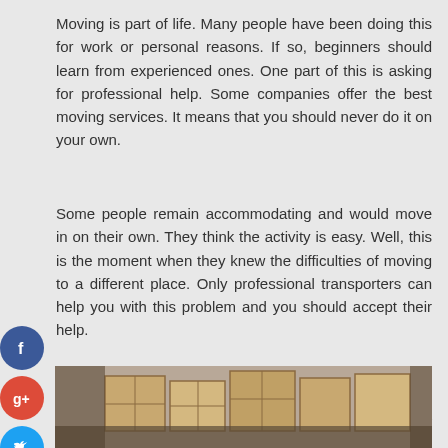Moving is part of life. Many people have been doing this for work or personal reasons. If so, beginners should learn from experienced ones. One part of this is asking for professional help. Some companies offer the best moving services. It means that you should never do it on your own.
Some people remain accommodating and would move in on their own. They think the activity is easy. Well, this is the moment when they knew the difficulties of moving to a different place. Only professional transporters can help you with this problem and you should accept their help.
You may want this done quickly and that means you need to contact them ASAP. It should work for you. You can navigate various online sources if you want to know more about packing and moving services.
[Figure (photo): Photo of cardboard moving boxes in a truck or storage space]